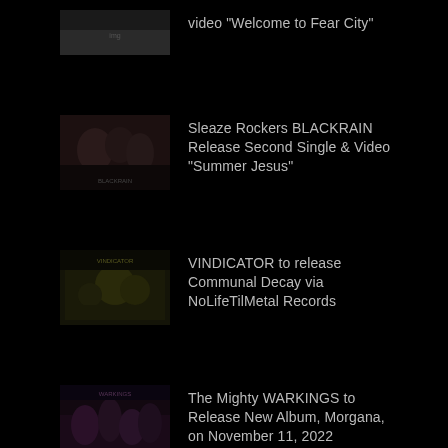[Figure (photo): Partial thumbnail image at top, partially cropped]
video "Welcome to Fear City"
[Figure (photo): Thumbnail of BLACKRAIN band members]
Sleaze Rockers BLACKRAIN Release Second Single & Video "Summer Jesus"
[Figure (photo): Thumbnail of VINDICATOR Communal Decay album cover]
VINDICATOR to release Communal Decay via NoLifeTilMetal Records
[Figure (photo): Thumbnail of WARKINGS band/album artwork]
The Mighty WARKINGS to Release New Album, Morgana, on November 11, 2022